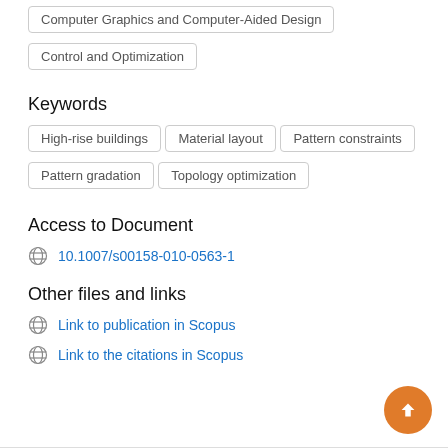Computer Graphics and Computer-Aided Design
Control and Optimization
Keywords
High-rise buildings
Material layout
Pattern constraints
Pattern gradation
Topology optimization
Access to Document
10.1007/s00158-010-0563-1
Other files and links
Link to publication in Scopus
Link to the citations in Scopus